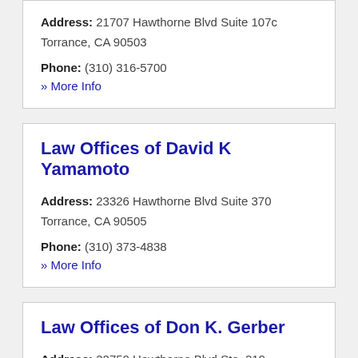Address: 21707 Hawthorne Blvd Suite 107c Torrance, CA 90503
Phone: (310) 316-5700
» More Info
Law Offices of David K Yamamoto
Address: 23326 Hawthorne Blvd Suite 370 Torrance, CA 90505
Phone: (310) 373-4838
» More Info
Law Offices of Don K. Gerber
Address: 22750 Hawthorne Blvd Ste. 219 Torrance, CA 90505